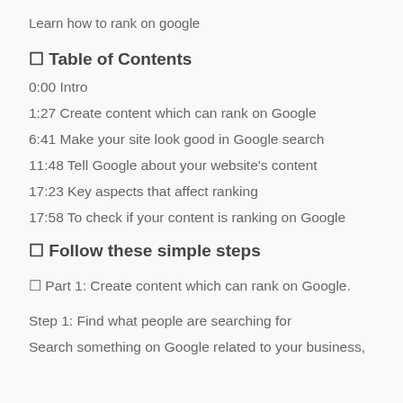Learn how to rank on google
📋 Table of Contents
0:00 Intro
1:27 Create content which can rank on Google
6:41 Make your site look good in Google search
11:48 Tell Google about your website's content
17:23 Key aspects that affect ranking
17:58 To check if your content is ranking on Google
👇 Follow these simple steps
👉 Part 1: Create content which can rank on Google.
Step 1: Find what people are searching for
Search something on Google related to your business,